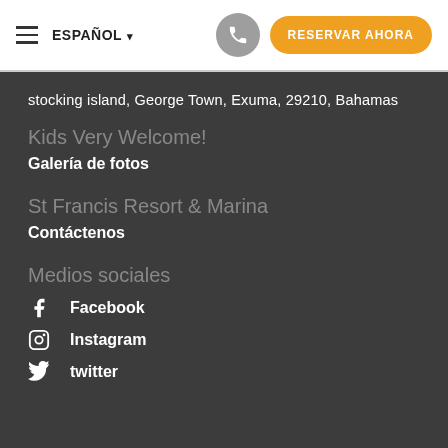≡ ESPAÑOL ▾   [phone icon]   RESERVAR AHORA
stocking island, George Town, Exuma, 29210, Bahamas
Kids Very Welcome!
Galería de fotos
St Francis Resort & Marina
Contáctenos
Medios sociales
Facebook
Instagram
twitter